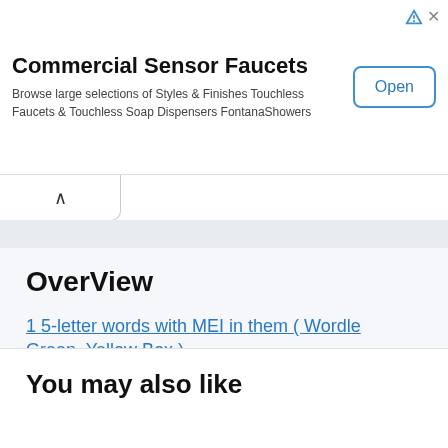[Figure (other): Advertisement banner for Commercial Sensor Faucets. Contains title 'Commercial Sensor Faucets', body text 'Browse large selections of Styles & Finishes Touchless Faucets & Touchless Soap Dispensers FontanaShowers', and an 'Open' button.]
OverView
1 5-letter words with MEI in them ( Wordle Green, Yellow Box )
2 MEI at Any position: 5 Letter words
You may also like